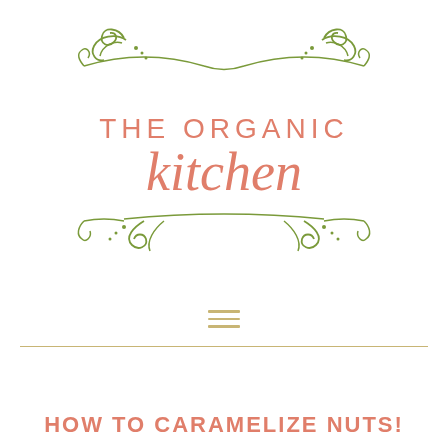[Figure (logo): The Organic Kitchen logo with decorative green scrollwork flourishes above and below the text. 'THE ORGANIC' in salmon/coral uppercase spaced letters and 'kitchen' in coral italic script below.]
[Figure (other): Hamburger menu icon consisting of three horizontal lines in olive/tan color]
HOW TO CARAMELIZE NUTS!